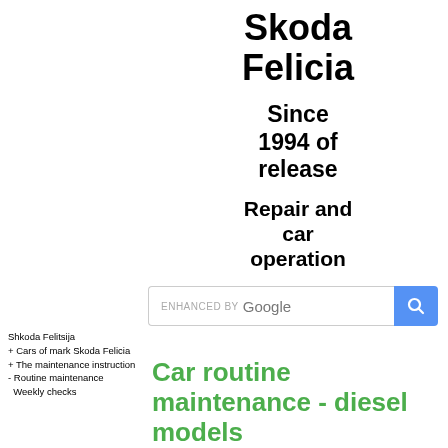Skoda Felicia
Since 1994 of release
Repair and car operation
[Figure (screenshot): Google search bar with 'ENHANCED BY Google' text and blue search button with magnifying glass icon]
Shkoda Felitsija
+ Cars of mark Skoda Felicia
+ The maintenance instruction
- Routine maintenance
Weekly checks
Car routine maintenance - diesel models